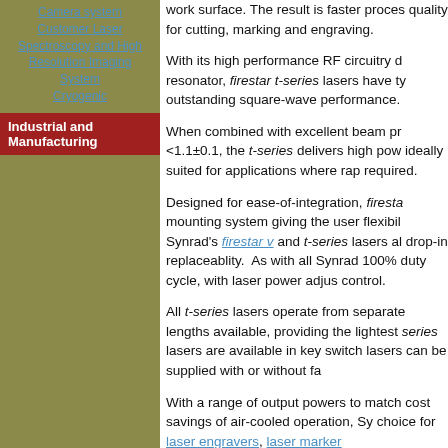Camera system
Customer Laser Spectroscopy and High Resolution Imaging System
Cryogenic
Industrial and Manufacturing
work surface. The result is faster processing quality for cutting, marking and engraving.
With its high performance RF circuitry d resonator, firestar t-series lasers have ty outstanding square-wave performance.
When combined with excellent beam pr <1.1±0.1, the t-series delivers high pow ideally suited for applications where rap required.
Designed for ease-of-integration, firesta mounting system giving the user flexibil Synrad's firestar v and t-series lasers al drop-in replaceablity. As with all Synrad 100% duty cycle, with laser power adjus control.
All t-series lasers operate from separate lengths available, providing the lightest series lasers are available in key switch lasers can be supplied with or without fa
With a range of output powers to match cost savings of air-cooled operation, Sy choice for laser engravers, laser marke